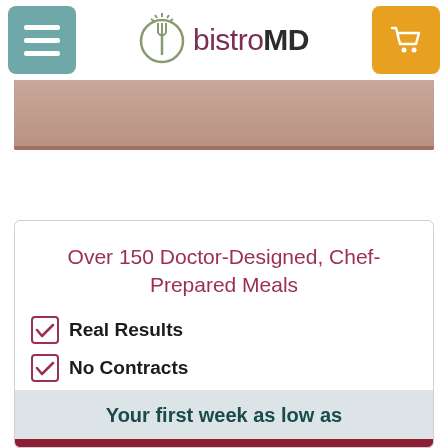bistroMD navigation header with menu button and cart button
[Figure (photo): Partial food photo strip showing a meal dish]
Over 150 Doctor-Designed, Chef-Prepared Meals
✅ Real Results
✅ No Contracts
Your first week as low as